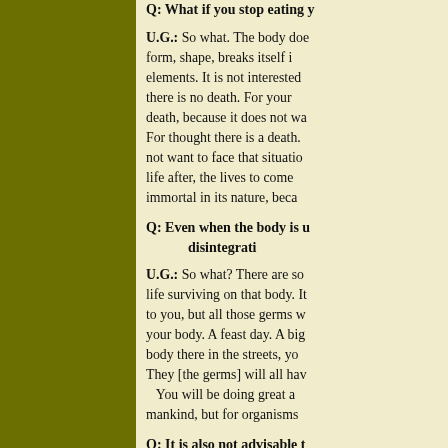Q: What if you stop eating your...
U.G.: So what. The body does form, shape, breaks itself i elements. It is not interested there is no death. For your death, because it does not wa For thought there is a death. not want to face that situatio life after, the lives to come immortal in its nature, beca
Q: Even when the body is un disintegrati
U.G.: So what? There are so life surviving on that body. It to you, but all those germs w your body. A feast day. A big body there in the streets, yo They [the germs] will all hav You will be doing great a mankind, but for organisms
Q: It is also not advisable t